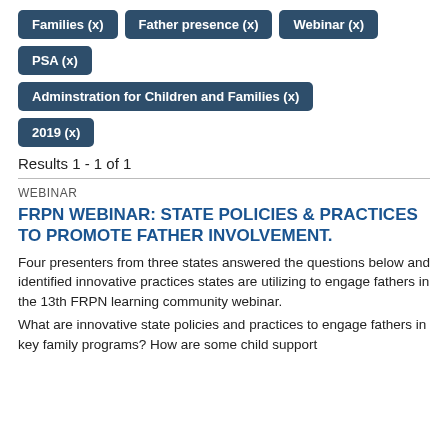Families (x)
Father presence (x)
Webinar (x)
PSA (x)
Adminstration for Children and Families (x)
2019 (x)
Results 1 - 1 of 1
WEBINAR
FRPN WEBINAR: STATE POLICIES & PRACTICES TO PROMOTE FATHER INVOLVEMENT.
Four presenters from three states answered the questions below and identified innovative practices states are utilizing to engage fathers in the 13th FRPN learning community webinar.
What are innovative state policies and practices to engage fathers in key family programs? How are some child support